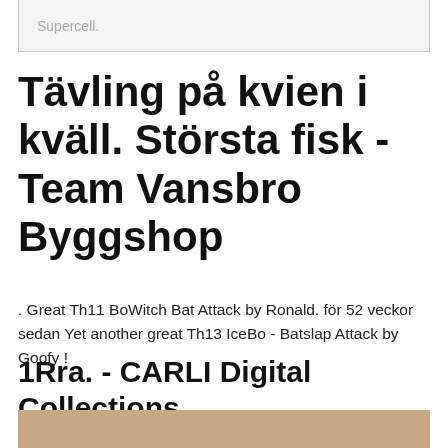Supercell.
Tävling på kvien i kväll. Största fisk - Team Vansbro Byggshop
. Great Th11 BoWitch Bat Attack by Ronald. för 52 veckor sedan Yet another great Th13 IceBo - Batslap Attack by Goofy !
1Rra. - CARLI Digital Collections
[Figure (photo): Bottom portion of an image, appears to be a brownish/tan colored photo, partially visible at the bottom of the page.]